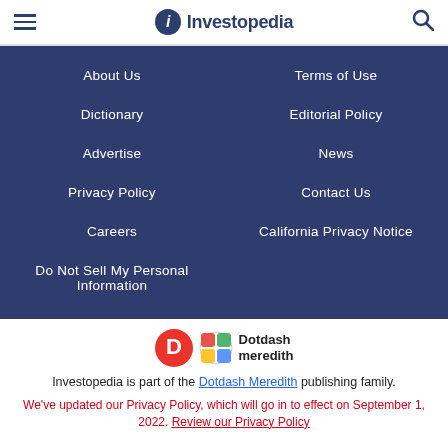Investopedia
About Us
Terms of Use
Dictionary
Editorial Policy
Advertise
News
Privacy Policy
Contact Us
Careers
California Privacy Notice
Do Not Sell My Personal Information
[Figure (logo): Dotdash Meredith logo]
Investopedia is part of the Dotdash Meredith publishing family.
We've updated our Privacy Policy, which will go in to effect on September 1, 2022. Review our Privacy Policy